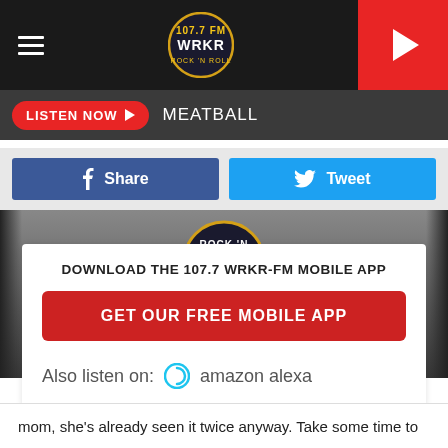WRKR 107.7 FM — Navigation bar with logo and play button
LISTEN NOW  MEATBALL
Share  Tweet
[Figure (screenshot): Hero image with partial WRKR Rock 'N badge/logo visible over a dark background]
DOWNLOAD THE 107.7 WRKR-FM MOBILE APP
GET OUR FREE MOBILE APP
Also listen on:  amazon alexa
mom, she's already seen it twice anyway. Take some time to